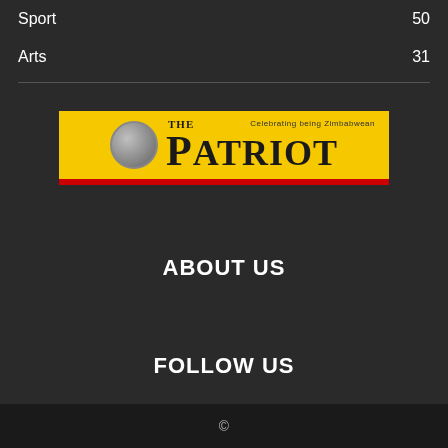Sport  50
Arts  31
[Figure (logo): The Patriot newspaper logo — yellow banner with red bottom stripe, globe icon, 'THE PATRIOT' text in bold serif, tagline 'Celebrating being Zimbabwean']
ABOUT US
FOLLOW US
©